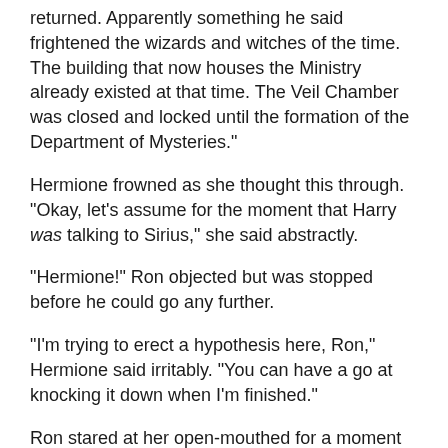returned. Apparently something he said frightened the wizards and witches of the time. The building that now houses the Ministry already existed at that time. The Veil Chamber was closed and locked until the formation of the Department of Mysteries."
Hermione frowned as she thought this through. "Okay, let's assume for the moment that Harry was talking to Sirius," she said abstractly.
"Hermione!" Ron objected but was stopped before he could go any further.
"I'm trying to erect a hypothesis here, Ron," Hermione said irritably. "You can have a go at knocking it down when I'm finished."
Ron stared at her open-mouthed for a moment then gestured warily for her to continue. Both Remus and Severus swallowed smiles; for a moment the girl had